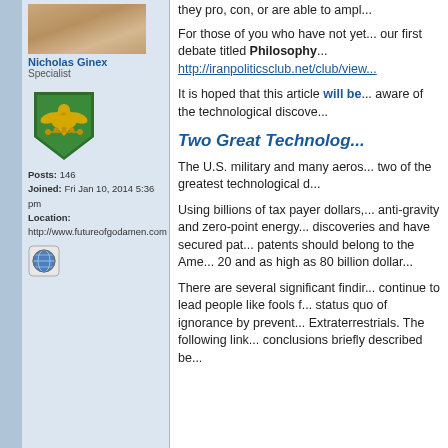[Figure (photo): Avatar photo of user Nicholas Ginex - elderly person's hands/face visible]
Nicholas Ginex
Specialist
[Figure (illustration): Military rank badge - green shield shape with yellow eagle emblem]
Posts: 146
Joined: Fri Jan 10, 2014 5:36 pm
Location:
http://www.futureofgodamen.com
[Figure (illustration): Globe/world icon]
they pro, con, or are able to ampl...
For those of you who have not yet... our first debate titled Philosophy... http://iranpoliticsclub.net/club/view...
It is hoped that this article will be... aware of the technological discove...
Two Great Technolog...
The U.S. military and many aeros... two of the greatest technological d...
Using billions of tax payer dollars,... anti-gravity and zero-point energy... discoveries and have secured pat... patents should belong to the Ame... 20 and as high as 80 billion dollar...
There are several significant findir... continue to lead people like fools f... status quo of ignorance by prevent... Extraterrestrials. The following link... conclusions briefly described be...